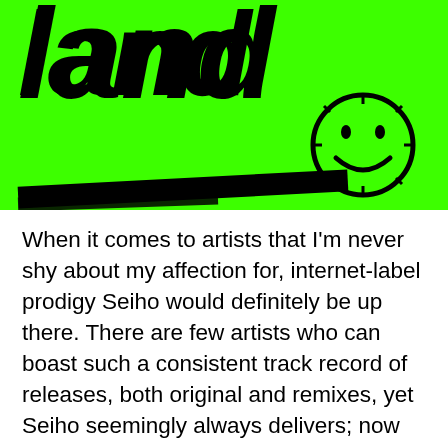[Figure (illustration): Bright neon green background with large bold italic black text reading 'land' with a smiley face circle icon to the right, and a black horizontal bar at the bottom. Top portion of text (partially cropped) visible above.]
When it comes to artists that I'm never shy about my affection for, internet-label prodigy Seiho would definitely be up there. There are few artists who can boast such a consistent track record of releases, both original and remixes, yet Seiho seemingly always delivers; now they're back once more with an all-new remix, this time tackling one of the Japanese hip-hop scene's